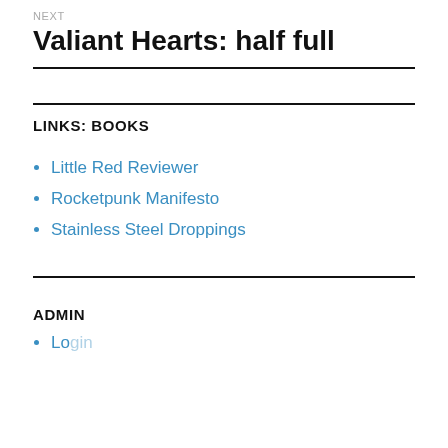NEXT
Valiant Hearts: half full
LINKS: BOOKS
Little Red Reviewer
Rocketpunk Manifesto
Stainless Steel Droppings
ADMIN
Login